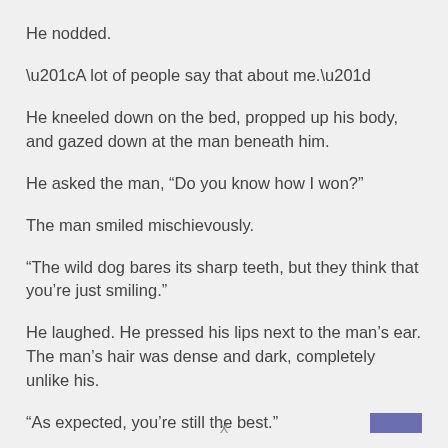He nodded.
“A lot of people say that about me.”
He kneeled down on the bed, propped up his body, and gazed down at the man beneath him.
He asked the man, “Do you know how I won?”
The man smiled mischievously.
“The wild dog bares its sharp teeth, but they think that you’re just smiling.”
He laughed. He pressed his lips next to the man’s ear. The man’s hair was dense and dark, completely unlike his.
“As expected, you’re still the best.”